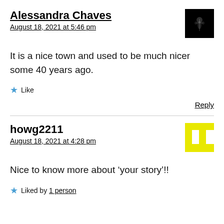Alessandra Chaves
August 18, 2021 at 5:46 pm
It is a nice town and used to be much nicer some 40 years ago.
Like
Reply
howg2211
August 18, 2021 at 4:28 pm
Nice to know more about ‘your story’!!
Liked by 1 person